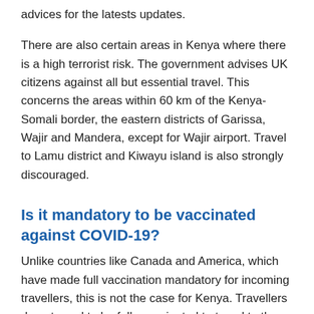advices for the latests updates.
There are also certain areas in Kenya where there is a high terrorist risk. The government advises UK citizens against all but essential travel. This concerns the areas within 60 km of the Kenya-Somali border, the eastern districts of Garissa, Wajir and Mandera, except for Wajir airport. Travel to Lamu district and Kiwayu island is also strongly discouraged.
Is it mandatory to be vaccinated against COVID-19?
Unlike countries like Canada and America, which have made full vaccination mandatory for incoming travellers, this is not the case for Kenya. Travellers do not need to be fully vaccinated to travel to the country. Yet this is strongly recommended by the UK